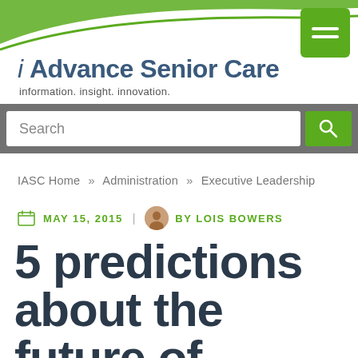[Figure (logo): i Advance Senior Care website logo with green arc swoosh and site name]
Search
IASC Home » Administration » Executive Leadership
MAY 15, 2015 | BY LOIS BOWERS
5 predictions about the future of senior